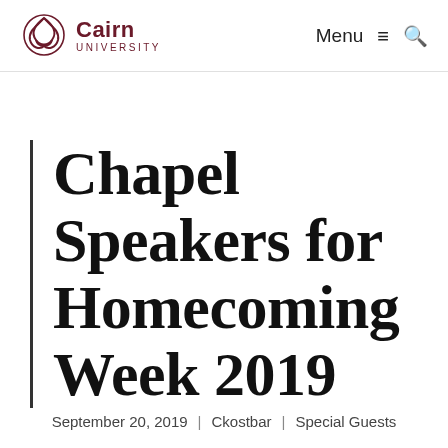Cairn University | Menu ≡ 🔍
Chapel Speakers for Homecoming Week 2019
September 20, 2019 | Ckostbar | Special Guests